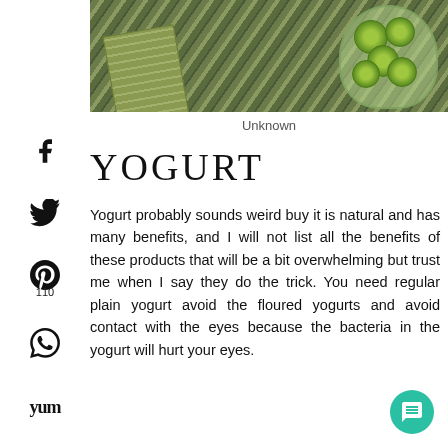[Figure (photo): Top-down photo of sliced cucumbers in a glass jar on a wooden surface with a green patterned mat/runner]
Unknown
YOGURT
Yogurt probably sounds weird buy it is natural and has many benefits, and I will not list all the benefits of these products that will be a bit overwhelming but trust me when I say they do the trick. You need regular plain yogurt avoid the floured yogurts and avoid contact with the eyes because the bacteria in the yogurt will hurt your eyes.